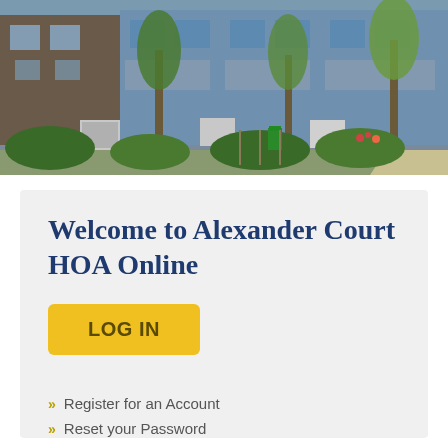[Figure (photo): Exterior photo of a row of townhomes with blue/beige siding, brick facade, air conditioning units, trees, and green landscaping]
Welcome to Alexander Court HOA Online
LOG IN
Register for an Account
Reset your Password
Make Association Payment